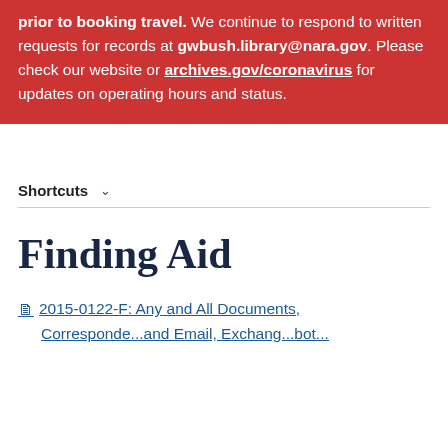prior to booking travel. We continue to respond to written requests for records at gwbush.library@nara.gov. Please check our website or archives.gov/coronavirus for updates on operating hours and status.
Shortcuts
Finding Aid
2015-0122-F: Any and All Documents,